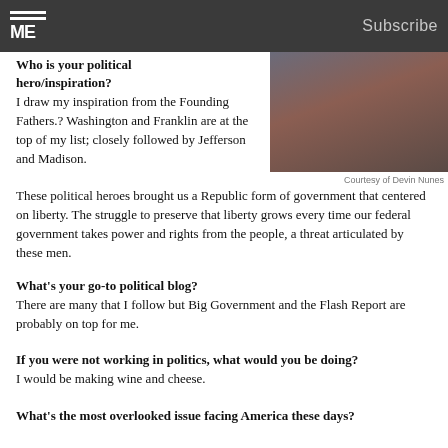Subscribe
Who is your political hero/inspiration?
I draw my inspiration from the Founding Fathers.? Washington and Franklin are at the top of my list; closely followed by Jefferson and Madison. These political heroes brought us a Republic form of government that centered on liberty. The struggle to preserve that liberty grows every time our federal government takes power and rights from the people, a threat articulated by these men.
[Figure (photo): Person in dark suit seated, hands resting on dark red leather armrest]
Courtesy of Devin Nunes
What's your go-to political blog?
There are many that I follow but Big Government and the Flash Report are probably on top for me.
If you were not working in politics, what would you be doing?
I would be making wine and cheese.
What's the most overlooked issue facing America these days?